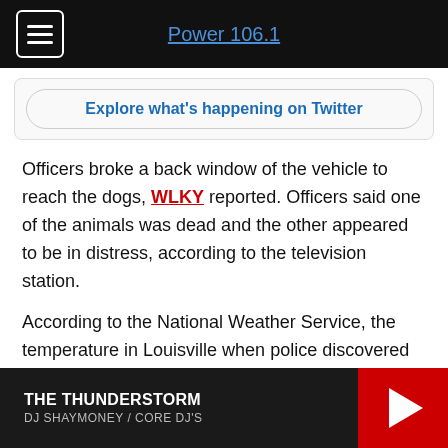Power 106.1
Explore what's happening on Twitter
Officers broke a back window of the vehicle to reach the dogs, WLKY reported. Officers said one of the animals was dead and the other appeared to be in distress, according to the television station.
According to the National Weather Service, the temperature in Louisville when police discovered the dogs was reported at 93 degrees, WAVE-TV reported.
Representatives of Louisville Metro Animal Services
THE THUNDERSTORM
DJ SHAYMONEY / CORE DJ'S